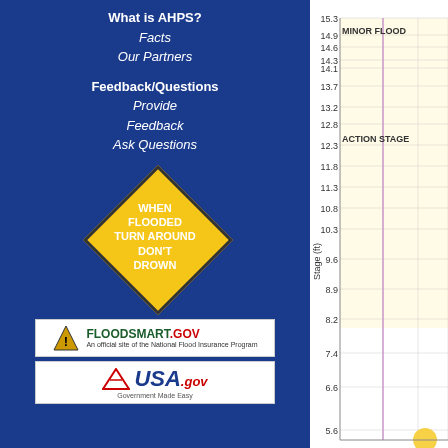Cedar
What is AHPS?
Facts
Our Partners
Feedback/Questions
Provide Feedback
Ask Questions
[Figure (infographic): Yellow diamond warning sign reading WHEN FLOODED TURN AROUND DON'T DROWN]
[Figure (logo): FloodSmart.gov logo - An official site of the National Flood Insurance Program]
[Figure (logo): USA.gov - Government Made Easy logo]
[Figure (continuous-plot): River stage hydrograph chart showing Stage (ft) on y-axis from 5.6 to 15.3, with MINOR FLOOD label at top (~15ft level) and ACTION STAGE label at ~12.3 ft. Background is light yellow/cream in flood zones. A vertical purple/lavender line appears on the chart.]